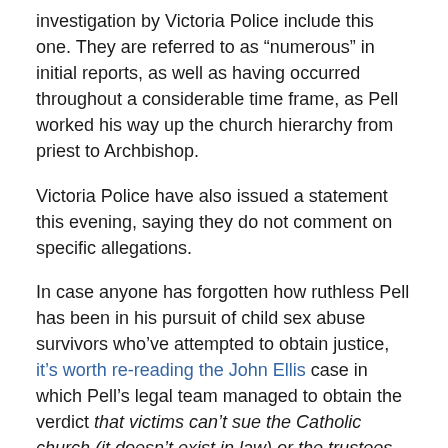investigation by Victoria Police include this one. They are referred to as “numerous” in initial reports, as well as having occurred throughout a considerable time frame, as Pell worked his way up the church hierarchy from priest to Archbishop.
Victoria Police have also issued a statement this evening, saying they do not comment on specific allegations.
In case anyone has forgotten how ruthless Pell has been in his pursuit of child sex abuse survivors who’ve attempted to obtain justice, it’s worth re-reading the John Ellis case in which Pell’s legal team managed to obtain the verdict that victims can’t sue the Catholic church (it doesn’t exist in law) or the trustees (who aren’t responsible for supervising priests) but only the offending priest (dead) or the offending priest’s supervising bishop (also dead). Pell